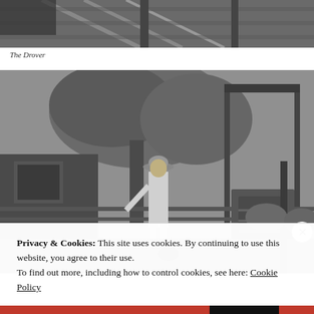[Figure (photo): Black and white photo of wooden stairs/structure, partial view at top of page]
The Drover
[Figure (photo): Black and white photograph of a man wearing a hat standing by a fence or rail in a farm/stockyard setting, with trees and equipment visible in the background]
Privacy & Cookies: This site uses cookies. By continuing to use this website, you agree to their use.
To find out more, including how to control cookies, see here: Cookie Policy
Close and accept